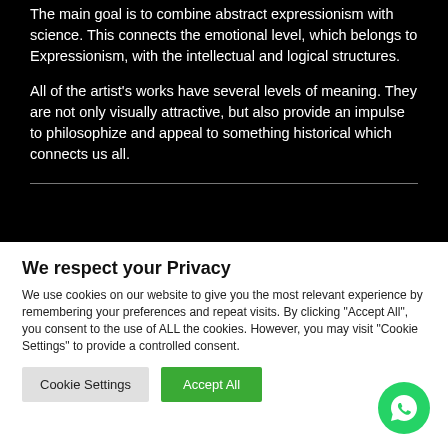The main goal is to combine abstract expressionism with science. This connects the emotional level, which belongs to Expressionism, with the intellectual and logical structures.
All of the artist's works have several levels of meaning. They are not only visually attractive, but also provide an impulse to philosophize and appeal to something historical which connects us all.
We respect your Privacy
We use cookies on our website to give you the most relevant experience by remembering your preferences and repeat visits. By clicking "Accept All", you consent to the use of ALL the cookies. However, you may visit "Cookie Settings" to provide a controlled consent.
[Figure (other): WhatsApp contact button — green circle with white phone/chat icon]